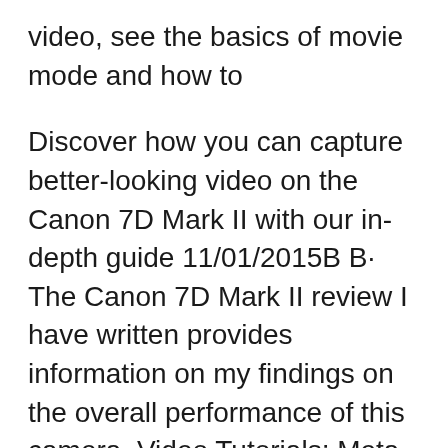video, see the basics of movie mode and how to
Discover how you can capture better-looking video on the Canon 7D Mark II with our in-depth guide 11/01/2015B B· The Canon 7D Mark II review I have written provides information on my findings on the overall performance of this camera. Video Tutorials; Meta. Log in;
Video Shooting with the Canon 7D & Workflow! And Much More!! Sample Lesson: Canon Rebel 7D External Buttons This tutorial on the Canon 7D is top notch! Watch the best online video instructions, tutorials, WonderHowTo